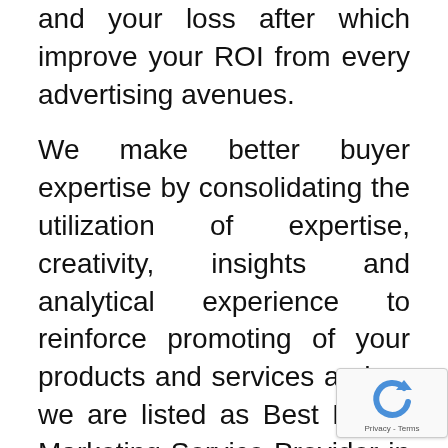and your loss after which improve your ROI from every advertising avenues.
We make better buyer expertise by consolidating the utilization of expertise, creativity, insights and analytical experience to reinforce promoting of your products and services and so we are listed as Best Digital Marketing Service Provider in Bangalore, India.
Vector Advertising has several misleading advertisement running on several searching websites that each one